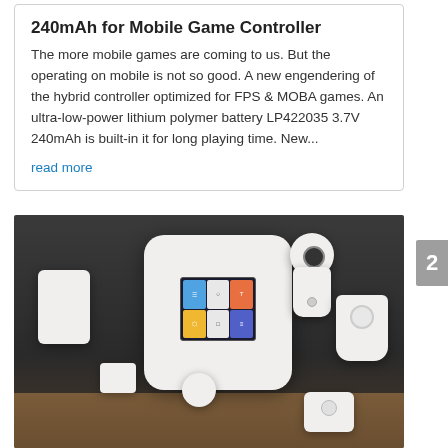240mAh for Mobile Game Controller
The more mobile games are coming to us. But the operating on mobile is not so good. A new engendering of the hybrid controller optimized for FPS & MOBA games. An ultra-low-power lithium polymer battery LP422035 3.7V 240mAh is built-in it for long playing time. New...
read more
[Figure (photo): Photo of a home security system kit showing a main hub device with colorful touchscreen, a flat panel sensor, door contact sensor, round sensor, camera device, motion sensor, and key fob — all in white, arranged on a wooden table against a dark background.]